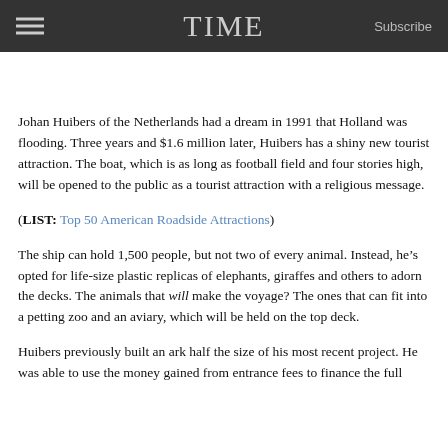TIME  Subscribe
Johan Huibers of the Netherlands had a dream in 1991 that Holland was flooding. Three years and $1.6 million later, Huibers has a shiny new tourist attraction. The boat, which is as long as football field and four stories high, will be opened to the public as a tourist attraction with a religious message.
(LIST: Top 50 American Roadside Attractions)
The ship can hold 1,500 people, but not two of every animal. Instead, he’s opted for life-size plastic replicas of elephants, giraffes and others to adorn the decks. The animals that will make the voyage? The ones that can fit into a petting zoo and an aviary, which will be held on the top deck.
Huibers previously built an ark half the size of his most recent project. He was able to use the money gained from entrance fees to finance the full…